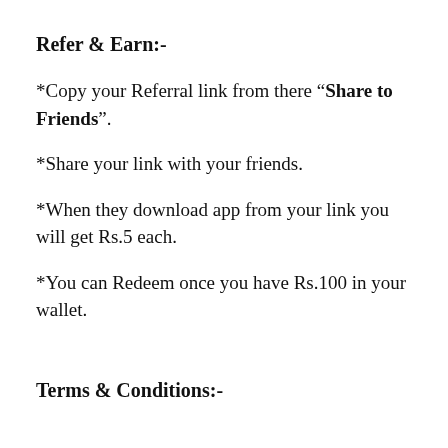Refer & Earn:-
*Copy your Referral link from there "Share to Friends".
*Share your link with your friends.
*When they download app from your link you will get Rs.5 each.
*You can Redeem once you have Rs.100 in your wallet.
Terms & Conditions:-